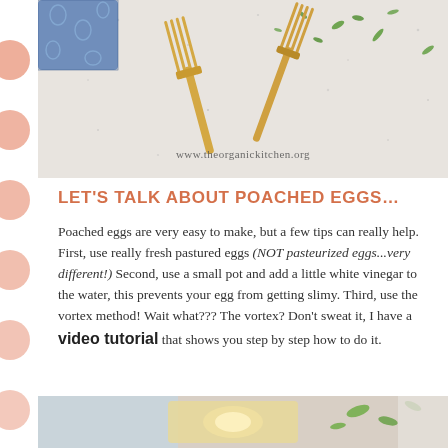[Figure (photo): Two gold/brass forks crossed on a white speckled surface with green herb leaves scattered around, and a blue patterned fabric in the corner. Watermark reads www.theorganickitchen.org]
LET'S TALK ABOUT POACHED EGGS…
Poached eggs are very easy to make, but a few tips can really help. First, use really fresh pastured eggs (NOT pasteurized eggs...very different!) Second, use a small pot and add a little white vinegar to the water, this prevents your egg from getting slimy. Third, use the vortex method! Wait what??? The vortex? Don't sweat it, I have a video tutorial that shows you step by step how to do it.
[Figure (photo): Bottom partial photo showing food items, likely poached eggs dish]